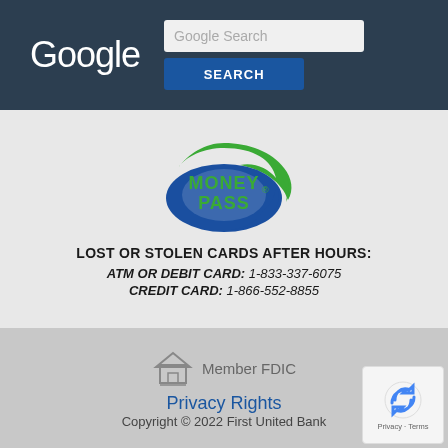[Figure (screenshot): Dark navigation bar with Google logo text on left and a search input box with 'Google Search' placeholder and a blue SEARCH button below]
[Figure (logo): MoneyPass logo - oval shape with MONEY PASS text in green and blue colors with swoosh arrows]
LOST OR STOLEN CARDS AFTER HOURS:
ATM OR DEBIT CARD: 1-833-337-6075
CREDIT CARD: 1-866-552-8855
[Figure (logo): Equal Housing Lender logo icon]
Member FDIC
Privacy Rights
Copyright © 2022 First United Bank
[Figure (logo): reCAPTCHA widget showing spinning arrows icon and Privacy · Terms links]